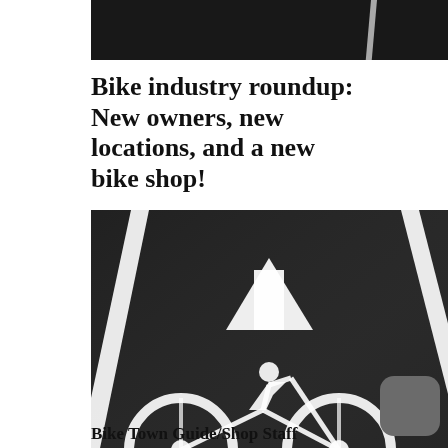[Figure (photo): Top portion of a dark asphalt road/bike lane with white lane markings visible at an angle]
Bike industry roundup: New owners, new locations, and a new bike shop!
[Figure (photo): Dark asphalt bike lane with white painted bicycle symbol and upward-pointing arrow, with white lane stripe lines on both sides]
Bike Town Guide/Shop Staff